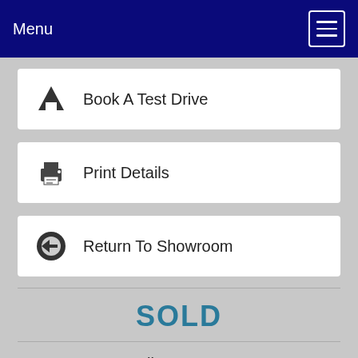Menu
Book A Test Drive
Print Details
Return To Showroom
SOLD
Call us now on
0151 666 8584
Overview